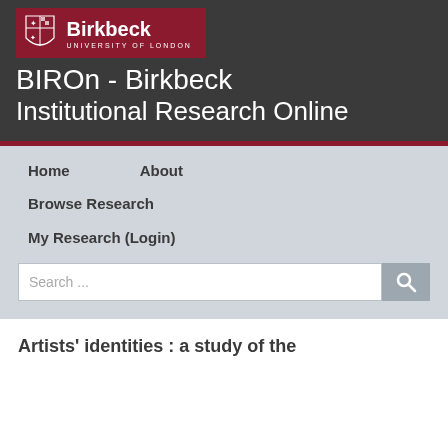[Figure (logo): Birkbeck University of London logo with shield and text on dark red background]
BIROn - Birkbeck Institutional Research Online
Home
About
Browse Research
My Research (Login)
Search ...
Artists' identities : a study of the